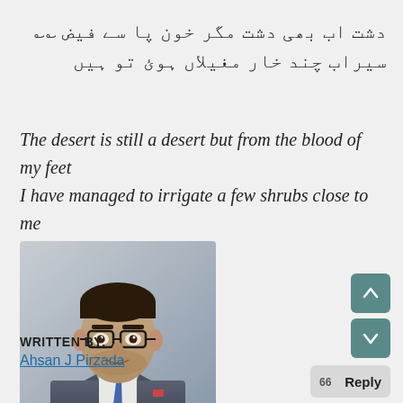دشت اب بھی دشت مگر خون پا سے فیض
سیراب چند خار مغیلاں ہوئ تو ہیں
The desert is still a desert but from the blood of my feet
I have managed to irrigate a few shrubs close to me
[Figure (photo): Portrait photo of a man in a suit with glasses and a tie]
WRITTEN BY:
Ahsan J Pirzada